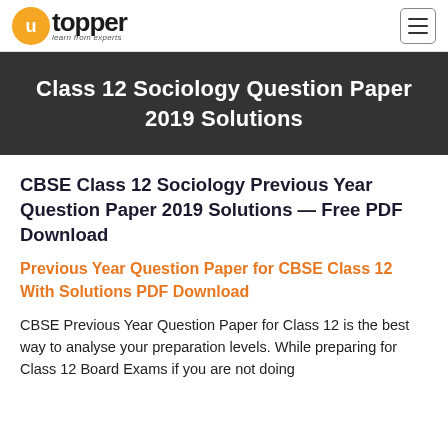utopper — learn from experts
Class 12 Sociology Question Paper 2019 Solutions
CBSE Class 12 Sociology Previous Year Question Paper 2019 Solutions — Free PDF Download
Previous Year Question Paper for CBSE Class 12 With Solutions PDF Download
CBSE Previous Year Question Paper for Class 12 is the best way to analyse your preparation levels. While preparing for Class 12 Board Exams if you are not doing...